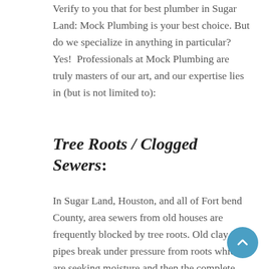Verify to you that for best plumber in Sugar Land: Mock Plumbing is your best choice. But do we specialize in anything in particular? Yes! Professionals at Mock Plumbing are truly masters of our art, and our expertise lies in (but is not limited to):
Tree Roots / Clogged Sewers:
In Sugar Land, Houston, and all of Fort bend County, area sewers from old houses are frequently blocked by tree roots. Old clay pipes break under pressure from roots which are seeking moisture and then the complete sewer system breaks down. Mock Plumbing is